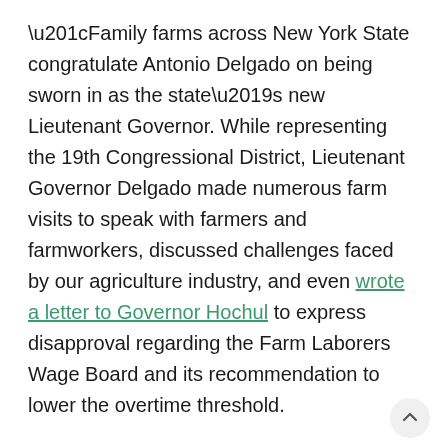“Family farms across New York State congratulate Antonio Delgado on being sworn in as the state’s new Lieutenant Governor. While representing the 19th Congressional District, Lieutenant Governor Delgado made numerous farm visits to speak with farmers and farmworkers, discussed challenges faced by our agriculture industry, and even wrote a letter to Governor Hochul to express disapproval regarding the Farm Laborers Wage Board and its recommendation to lower the overtime threshold.
This is an elected leader who listens to New Yorkers, takes action to support the next generation of farmers and farmworkers, and makes an effort to understand the complexities of our fragile food system and help underserved populations. We look forward to working together to ensure a future for